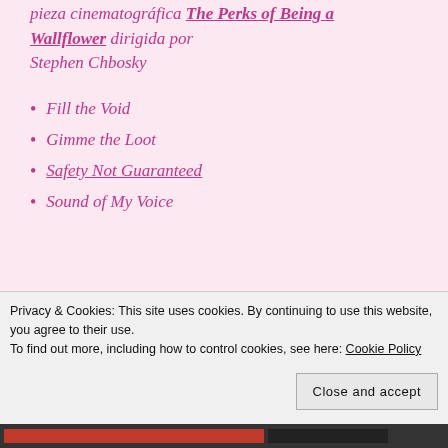pieza cinematográfica The Perks of Being a Wallflower dirigida por Stephen Chbosky
Fill the Void
Gimme the Loot
Safety Not Guaranteed
Sound of My Voice
Premio John Cassavetes
Entregado a la mejor producción hecha por debajo de los quinientos
Privacy & Cookies: This site uses cookies. By continuing to use this website, you agree to their use.
To find out more, including how to control cookies, see here: Cookie Policy
Close and accept